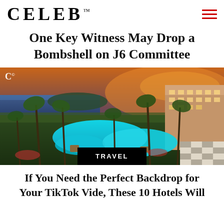CELEB™
One Key Witness May Drop a Bombshell on J6 Committee
[Figure (photo): Aerial twilight view of a luxury resort with illuminated free-form swimming pools, palm trees, tropical landscaping, and a large hotel building, with ocean and colorful sunset sky in the background. A watermark logo 'C' appears in the upper left corner. A black 'TRAVEL' badge is overlaid at the bottom center.]
If You Need the Perfect Backdrop for Your TikTok Vide, These 10 Hotels Will